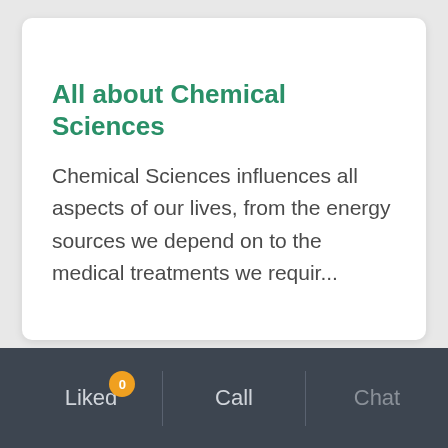All about Chemical Sciences
Chemical Sciences influences all aspects of our lives, from the energy sources we depend on to the medical treatments we requir...
Liked 0  Call  Chat